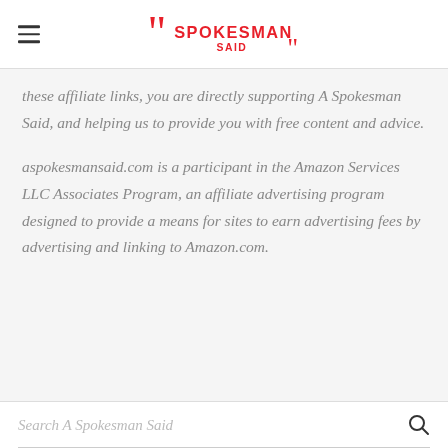A Spokesman Said
these affiliate links, you are directly supporting A Spokesman Said, and helping us to provide you with free content and advice.
aspokesmansaid.com is a participant in the Amazon Services LLC Associates Program, an affiliate advertising program designed to provide a means for sites to earn advertising fees by advertising and linking to Amazon.com.
Search A Spokesman Said